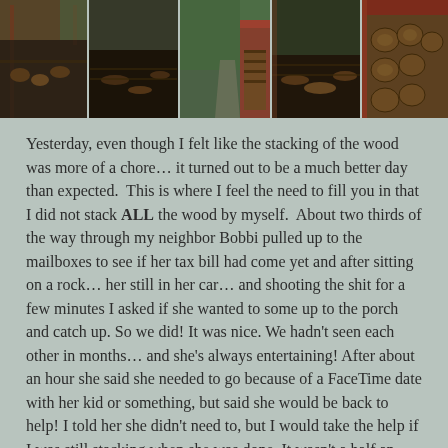[Figure (photo): A horizontal strip of five outdoor photos showing a wood-stacking area: a shed with firewood, piles of cut wood on the ground, a path alongside a wood shed, more stacked firewood, and a close-up of stacked logs.]
Yesterday, even though I felt like the stacking of the wood was more of a chore... it turned out to be a much better day than expected.  This is where I feel the need to fill you in that I did not stack ALL the wood by myself.  About two thirds of the way through my neighbor Bobbi pulled up to the mailboxes to see if her tax bill had come yet and after sitting on a rock... her still in her car... and shooting the shit for a few minutes I asked if she wanted to some up to the porch and catch up. So we did! It was nice. We hadn't seen each other in months... and she's always entertaining! After about an hour she said she needed to go because of a FaceTime date with her kid or something, but said she would be back to help! I told her she didn't need to, but I would take the help if I was still stacking when she was done. It wasn't a half an hour until she came back... ready to stack some wood... thin block...